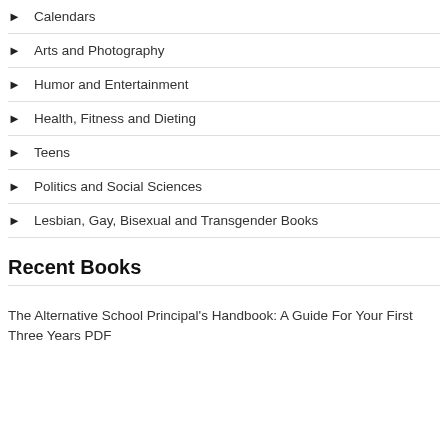Calendars
Arts and Photography
Humor and Entertainment
Health, Fitness and Dieting
Teens
Politics and Social Sciences
Lesbian, Gay, Bisexual and Transgender Books
Recent Books
The Alternative School Principal's Handbook: A Guide For Your First Three Years PDF